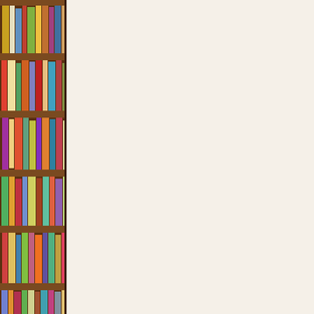[Figure (photo): Bookshelf with colorful books arranged on wooden shelves, brown wood visible, multiple rows of books in various colors]
Prayer
Lord, som- feeling li- having li- studying e-
If you
0 commen-
Worth-
Reading
Gold Nu- Verse 18:
Commem-
“And let a- heart,” (C